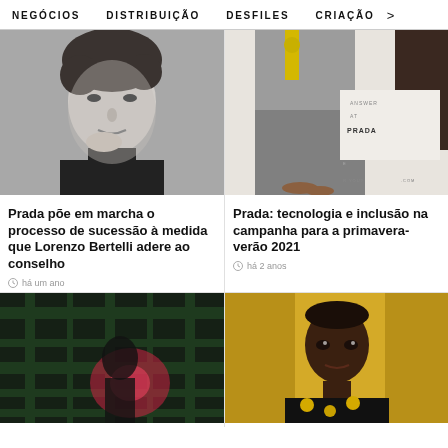NEGÓCIOS   DISTRIBUIÇÃO   DESFILES   CRIAÇÃO   >
[Figure (photo): Black and white portrait of a man with dark curly hair, looking at camera with hand near chin]
[Figure (photo): Fashion editorial showing a model wearing a grey Prada dress with yellow detail, with text 'ANSWER AT PRADA' overlay]
Prada põe em marcha o processo de sucessão à medida que Lorenzo Bertelli adere ao conselho
há um ano
Prada: tecnologia e inclusão na campanha para a primavera-verão 2021
há 2 anos
[Figure (photo): Dark fashion photo with plaid pattern and red/pink light, dark background]
[Figure (photo): Model wearing black Prada top with yellow circular details against gold/yellow background]